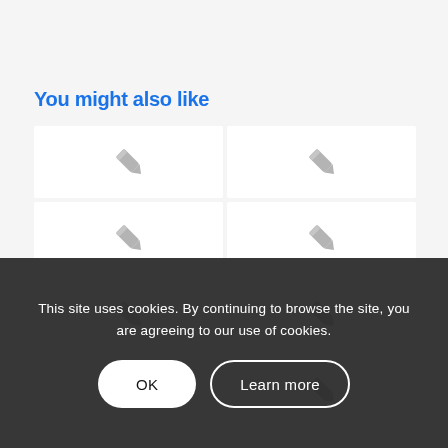You might also like
[Figure (illustration): A 2-column, 4-row grid of placeholder image cards, each showing a small grey pencil icon in the center on a white background.]
This site uses cookies. By continuing to browse the site, you are agreeing to our use of cookies.
OK
Learn more